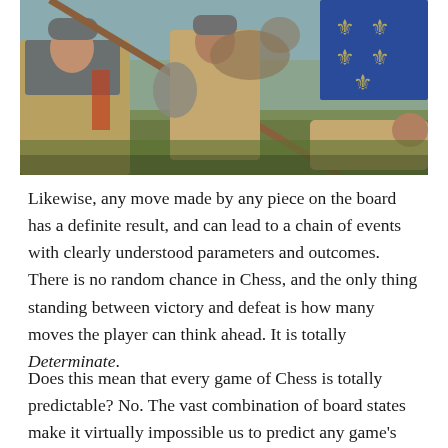[Figure (illustration): Digital painting of a medieval battle scene with warriors in chainmail and padded armor fighting with spears and axes. One soldier is falling down on the right, and a blue banner with fleur-de-lis pattern is visible in the background.]
Likewise, any move made by any piece on the board has a definite result, and can lead to a chain of events with clearly understood parameters and outcomes. There is no random chance in Chess, and the only thing standing between victory and defeat is how many moves the player can think ahead. It is totally Determinate.
Does this mean that every game of Chess is totally predictable? No. The vast combination of board states make it virtually impossible us to predict any game's end result, outside of saying Bobby Fischer would hand me my butt even